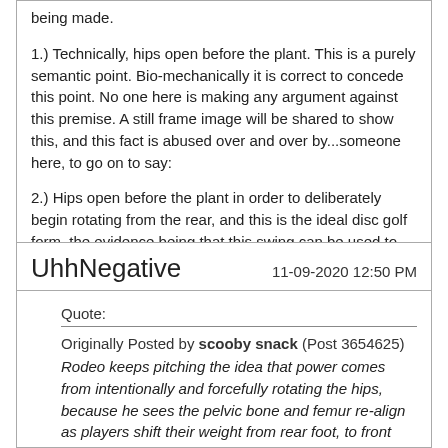being made.

1.) Technically, hips open before the plant. This is a purely semantic point. Bio-mechanically it is correct to concede this point. No one here is making any argument against this premise. A still frame image will be shared to show this, and this fact is abused over and over by...someone here, to go on to say:

2.) Hips open before the plant in order to deliberately begin rotating from the rear, and this is the ideal disc golf form, the evidence being that this swing can be used to throw 350 feet! This point is then endlessly denied by players who throw much farther.

Repeat, forever, I guess.
UhhNegative
11-09-2020 12:50 PM
Quote:
Originally Posted by scooby snack (Post 3654625) Rodeo keeps pitching the idea that power comes from intentionally and forcefully rotating the hips, because he sees the pelvic bone and femur re-align as players shift their weight from rear foot, to front foot.

Hips play an important part in generating power, but it's a lateral shift towards the target, not a forceful rotation as he advocates.